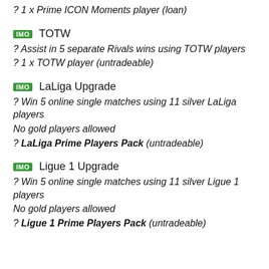? 1 x Prime ICON Moments player (loan)
IMO TOTW
? Assist in 5 separate Rivals wins using TOTW players
? 1 x TOTW player (untradeable)
IMO LaLiga Upgrade
? Win 5 online single matches using 11 silver LaLiga players
No gold players allowed
? LaLiga Prime Players Pack (untradeable)
IMO Ligue 1 Upgrade
? Win 5 online single matches using 11 silver Ligue 1 players
No gold players allowed
? Ligue 1 Prime Players Pack (untradeable)